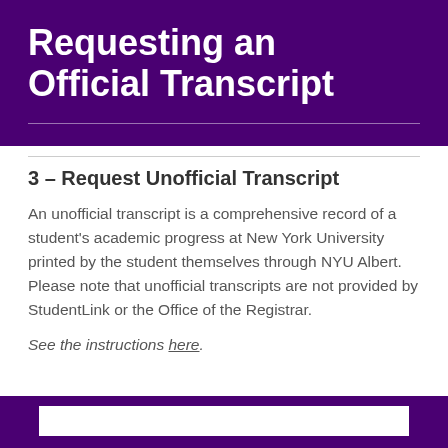Requesting an Official Transcript
3 - Request Unofficial Transcript
An unofficial transcript is a comprehensive record of a student's academic progress at New York University printed by the student themselves through NYU Albert. Please note that unofficial transcripts are not provided by StudentLink or the Office of the Registrar.
See the instructions here.